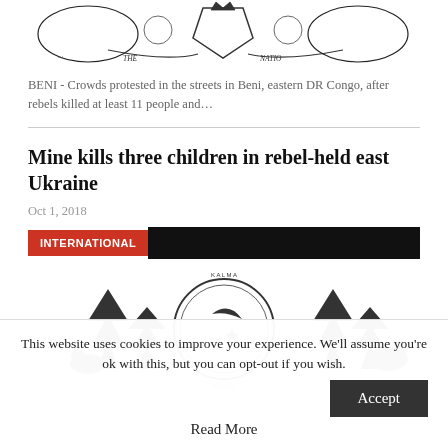[Figure (illustration): Black and white heraldic coat of arms illustration with text ribbon reading 'THE NATION']
BENI - Crowds protested in the streets in Beni, eastern DR Congo, after rebels killed at least 11 people and…
Mine kills three children in rebel-held east Ukraine
Oct 1, 2018
INTERNATIONAL
[Figure (illustration): Black and white illustration with pine trees and a circular emblem reading 'KALMA E HAQ' with crescent moon and star]
This website uses cookies to improve your experience. We'll assume you're ok with this, but you can opt-out if you wish.
Accept
Read More